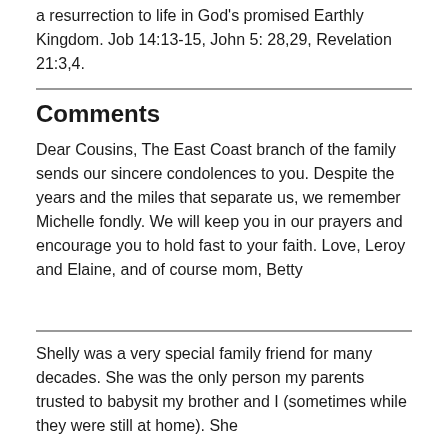a resurrection to life in God's promised Earthly Kingdom. Job 14:13-15, John 5: 28,29, Revelation 21:3,4.
Comments
Dear Cousins, The East Coast branch of the family sends our sincere condolences to you. Despite the years and the miles that separate us, we remember Michelle fondly. We will keep you in our prayers and encourage you to hold fast to your faith. Love, Leroy and Elaine, and of course mom, Betty
Shelly was a very special family friend for many decades. She was the only person my parents trusted to babysit my brother and I (sometimes while they were still at home). She